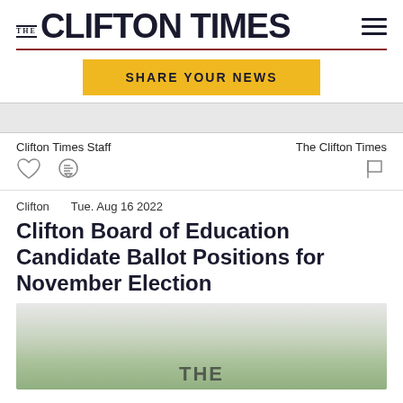THE CLIFTON TIMES
SHARE YOUR NEWS
Clifton Times Staff    The Clifton Times
Clifton   Tue. Aug 16 2022
Clifton Board of Education Candidate Ballot Positions for November Election
[Figure (photo): Outdoor photo showing greenery and partial text reading THE with campaign signs or banner visible]